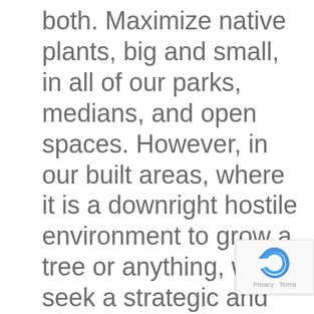both. Maximize native plants, big and small, in all of our parks, medians, and open spaces. However, in our built areas, where it is a downright hostile environment to grow a tree or anything, we seek a strategic and world wide approach to species selection. Our sidewalk planting strips are so narrow, as well, that a native coast live oak, redwood, bigleaf maple, or California buckeye, even if given perfect soil and water requirements, would break up